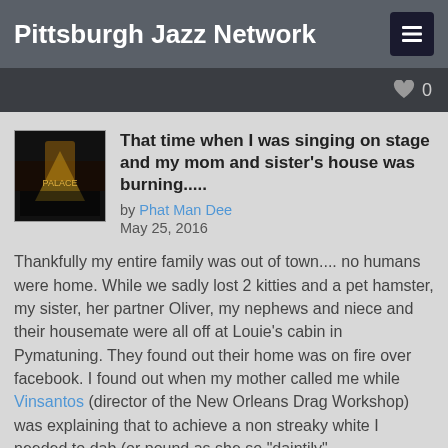Pittsburgh Jazz Network
That time when I was singing on stage and my mom and sister's house was burning.....
by Phat Man Dee
May 25, 2016
Thankfully my entire family was out of town.... no humans were home. While we sadly lost 2 kitties and a pet hamster, my sister, her partner Oliver, my nephews and niece and their housemate were all off at Louie’s cabin in Pymatuning. They found out their home was on fire over facebook. I found out when my mother called me while Vinsantos (director of the New Orleans Drag Workshop) was explaining that to achieve a non streaky white I needed to dab (or pound as she so "daintily" demonstrated) NOT "smear" on my face..... my mother called mid-pound and said on the phone while I was